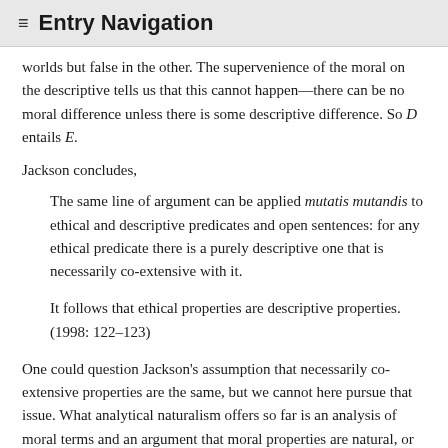≡ Entry Navigation
worlds but false in the other. The supervenience of the moral on the descriptive tells us that this cannot happen—there can be no moral difference unless there is some descriptive difference. So D entails E.
Jackson concludes,
The same line of argument can be applied mutatis mutandis to ethical and descriptive predicates and open sentences: for any ethical predicate there is a purely descriptive one that is necessarily co-extensive with it.
It follows that ethical properties are descriptive properties. (1998: 122–123)
One could question Jackson's assumption that necessarily co-extensive properties are the same, but we cannot here pursue that issue. What analytical naturalism offers so far is an analysis of moral terms and an argument that moral properties are natural, or descriptive. But exactly which